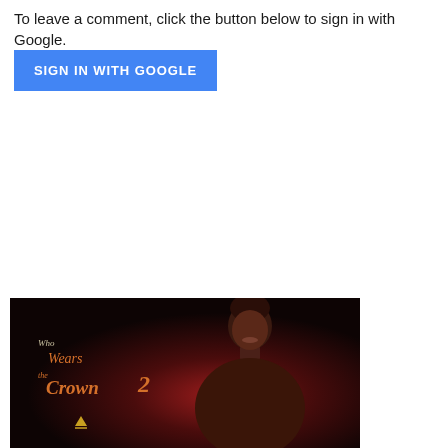To leave a comment, click the button below to sign in with Google.
[Figure (other): Blue 'SIGN IN WITH GOOGLE' button]
[Figure (photo): Promotional image for 'Who Wears the Crown 2' featuring a woman against a dark red background with the show's logo in orange script on the left side.]